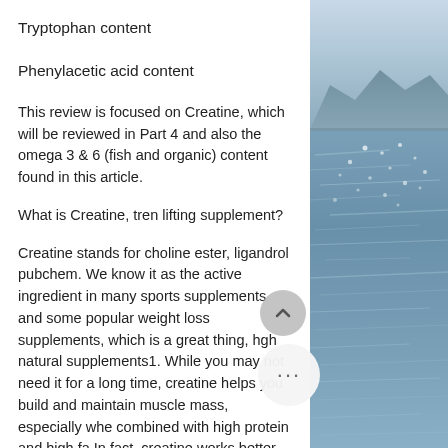Tryptophan content
Phenylacetic acid content
This review is focused on Creatine, which will be reviewed in Part 4 and also the omega 3 & 6 (fish and organic) content found in this article.
What is Creatine, tren lifting supplement?
Creatine stands for choline ester, ligandrol pubchem. We know it as the active ingredient in many sports supplements and some popular weight loss supplements, which is a great thing, hgh natural supplements1. While you may not need it for a long time, creatine helps you build and maintain muscle mass, especially when combined with high protein and high fat... In fact, creatine works better with protein
[Figure (photo): Photograph of a calm sea or lake with mountains in the background and sparkling water surface, blue-grey tones.]